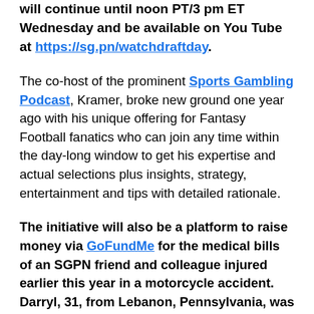will continue until noon PT/3 pm ET Wednesday and be available on You Tube at https://sg.pn/watchdraftday.
The co-host of the prominent Sports Gambling Podcast, Kramer, broke new ground one year ago with his unique offering for Fantasy Football fanatics who can join any time within the day-long window to get his expertise and actual selections plus insights, strategy, entertainment and tips with detailed rationale.
The initiative will also be a platform to raise money via GoFundMe for the medical bills of an SGPN friend and colleague injured earlier this year in a motorcycle accident. Darryl, 31, from Lebanon, Pennsylvania, was riding home from work when he was cut off by a box truck, resulting in the loss of his right leg (above the knee) and multiple other injuries, some permanent. The accident happened four days before he